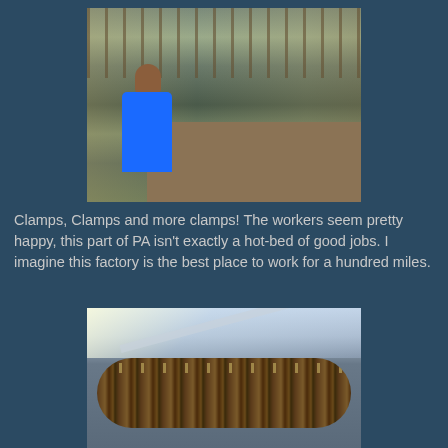[Figure (photo): A worker in a blue vest sitting at a workbench in what appears to be a factory or store, viewed from behind. Shelves with various items visible in the background.]
Clamps, Clamps and more clamps! The workers seem pretty happy, this part of PA isn't exactly a hot-bed of good jobs. I imagine this factory is the best place to work for a hundred miles.
[Figure (photo): A large cylindrical assembly of clamps stacked together on a rack, viewed through a glass or clear barrier, with fluorescent ceiling lights visible above.]